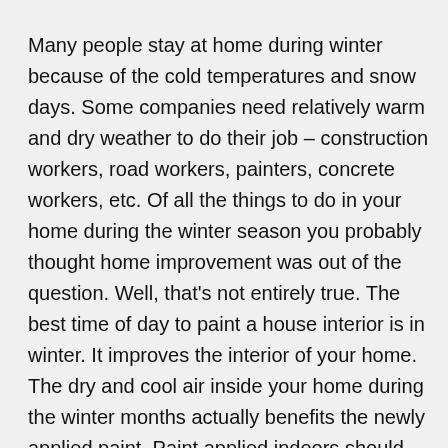Many people stay at home during winter because of the cold temperatures and snow days. Some companies need relatively warm and dry weather to do their job – construction workers, road workers, painters, concrete workers, etc. Of all the things to do in your home during the winter season you probably thought home improvement was out of the question. Well, that's not entirely true. The best time of day to paint a house interior is in winter. It improves the interior of your home. The dry and cool air inside your home during the winter months actually benefits the newly applied paint. Paint applied indoors should be at the right temperature. That's why many professionals recommend winter months for painting the inside of your home. For instance, you want the temperature of the air, the wall surface and the paint to be between 60-80 degrees Fahrenheit to achieve a beautiful even finish. So before the next snow storm, pick